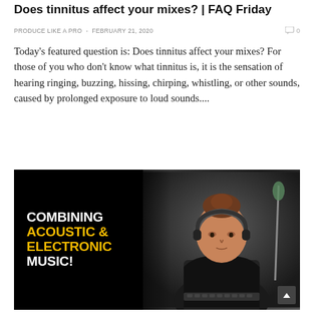Does tinnitus affect your mixes? | FAQ Friday
PRODUCE LIKE A PRO  -  FEBRUARY 21, 2020
Today's featured question is: Does tinnitus affect your mixes? For those of you who don't know what tinnitus is, it is the sensation of hearing ringing, buzzing, hissing, chirping, whistling, or other sounds, caused by prolonged exposure to loud sounds....
[Figure (photo): Video thumbnail showing text overlay 'COMBINING ACOUSTIC & ELECTRONIC MUSIC!' on dark background with a person wearing headphones sitting at a studio setup]